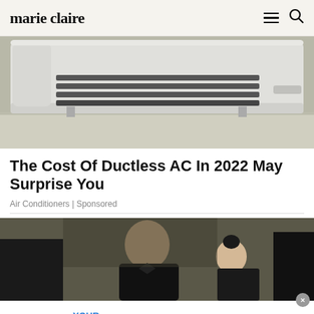marie claire
[Figure (photo): Wall-mounted ductless mini-split air conditioner unit, white, mounted on a white wall]
The Cost Of Ductless AC In 2022 May Surprise You
Air Conditioners | Sponsored
[Figure (photo): Two people in formal black attire at an event, one bald man looking down, another person with hair in a bun]
[Figure (infographic): Saks Fifth Avenue advertisement banner: YOUR TOP PICKS, SHOP NOW, Balenciaga shoe, $1,350.00]